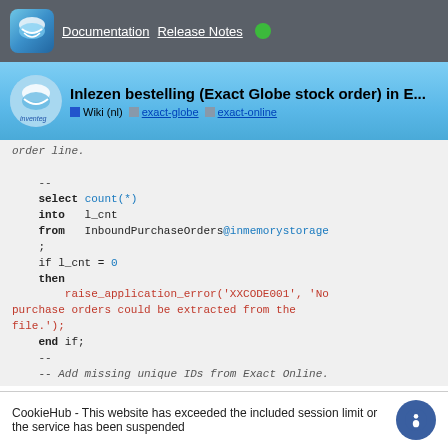Documentation  Release Notes
Inlezen bestelling (Exact Globe stock order) in E...
Wiki (nl)  exact-globe  exact-online
[Figure (screenshot): Code block showing SQL/PL SQL code with syntax highlighting. Contains select count(*), into l_cnt, from InboundPurchaseOrders@inmemorystorage, if l_cnt = 0, then raise_application_error, end if, create or replace table InboundPurchaseOrdersMatched@inmemorystorage, as, and comments about Add missing unique IDs from Exact Online.]
CookieHub - This website has exceeded the included session limit or the service has been suspended